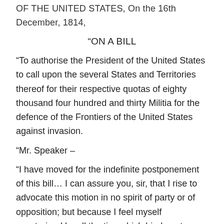OF THE UNITED STATES, On the 16th December, 1814,
“ON A BILL
“To authorise the President of the United States to call upon the several States and Territories thereof for their respective quotas of eighty thousand four hundred and thirty Militia for the defence of the Frontiers of the United States against invasion.
“Mr. Speaker –
“I have moved for the indefinite postponement of this bill… I can assure you, sir, that I rise to advocate this motion in no spirit of party or of opposition; but because I feel myself constrained by all the ties which bind me to my constituents and country, to make use of every exertion to prevent the passage of the bill. I know the difficulties which